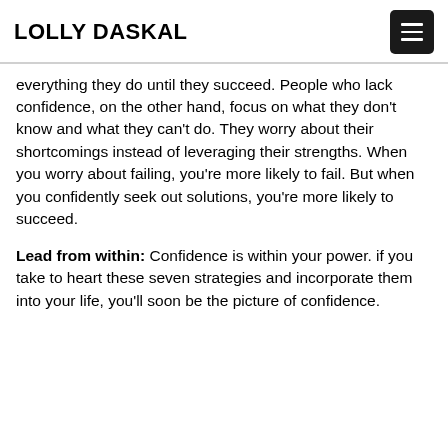LOLLY DASKAL
everything they do until they succeed. People who lack confidence, on the other hand, focus on what they don't know and what they can't do. They worry about their shortcomings instead of leveraging their strengths. When you worry about failing, you're more likely to fail. But when you confidently seek out solutions, you're more likely to succeed.
Lead from within: Confidence is within your power. if you take to heart these seven strategies and incorporate them into your life, you'll soon be the picture of confidence.